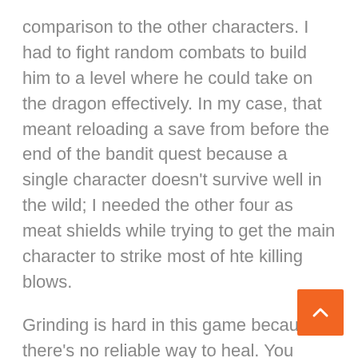comparison to the other characters. I had to fight random combats to build him to a level where he could take on the dragon effectively. In my case, that meant reloading a save from before the end of the bandit quest because a single character doesn't survive well in the wild; I needed the other four as meat shields while trying to get the main character to strike most of hte killing blows.
Grinding is hard in this game because there's no reliable way to heal. You mostly have to hope that the girl with the medicine bottle wanders along as a random encounter, then give as many doses as she'll allow to the weakest party members. She wanders away after half a dozen.
Anyway, through grinding I eventually got my lead